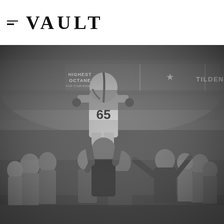≡ VAULT
[Figure (photo): Black and white photograph of a football player wearing jersey number 65 and a helmet being carried on the shoulders of a celebrating crowd on a football field. Fans and stadium are visible in the background with advertising signs including 'HIGHEST OCTANE' and 'TILDEN'.]